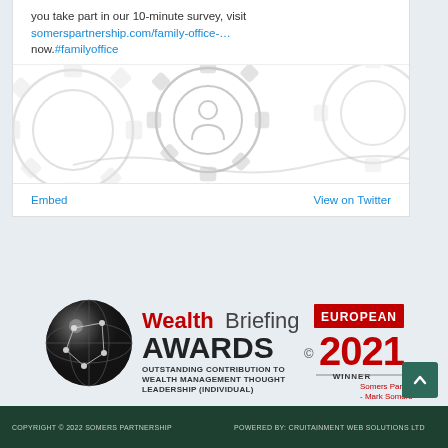you take part in our 10-minute survey, visit somerspartnership.com/family-office-… now.#familyoffice
[Figure (illustration): Decorative gear/cog illustration in light gray outline style, showing interlocking gears with a person icon in center gear]
Embed   View on Twitter
[Figure (logo): WealthBriefing European Awards 2021 logo. Outstanding Contribution to Wealth Management Thought Leadership (Individual). Winner: Somers Partnership - Mark Somers]
COPYRIGHT © 2022 SOMERS PARTNERSHIP    POWERED BY: CRUITAINMENT WEB SOLUTIONS LTD